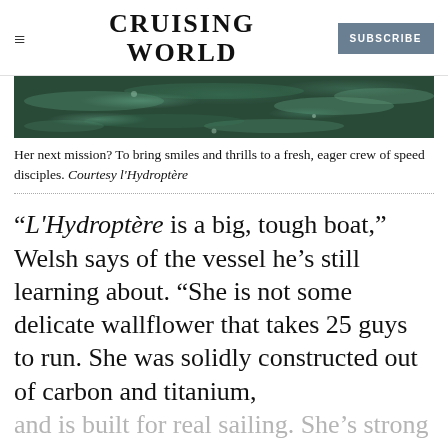CRUISING WORLD | SUBSCRIBE
[Figure (photo): Water surface close-up, dark teal/green tones, appears to be turbulent or rough water]
Her next mission? To bring smiles and thrills to a fresh, eager crew of speed disciples. Courtesy l'Hydroptère
“L'Hydroptère is a big, tough boat,” Welsh says of the vessel he’s still learning about. “She is not some delicate wallflower that takes 25 guys to run. She was solidly constructed out of carbon and titanium, and is built for real sailing. She’s strong enough to try other foils, and there are some clear pathways to making her